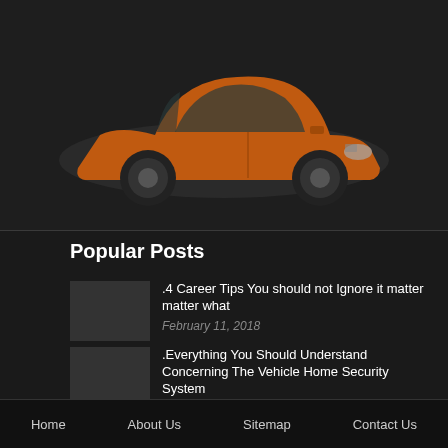[Figure (photo): Orange/brown Mazda hatchback car on a dark background]
Popular Posts
.4 Career Tips You should not Ignore it matter matter what
February 11, 2018
.Everything You Should Understand Concerning The Vehicle Home Security System
July 11, 2018
.4 Tips to Beat Carpark cin your Nissan X-trail
July 11, 2018
Home   About Us   Sitemap   Contact Us